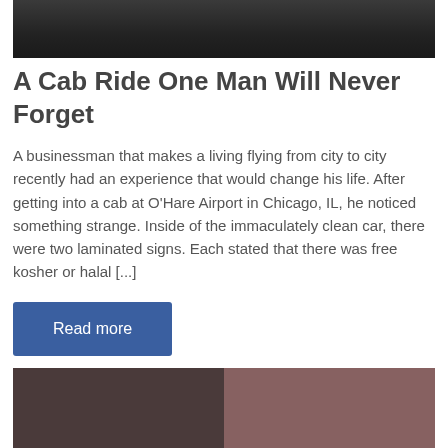[Figure (photo): Partial photo at top of page, dark interior scene]
A Cab Ride One Man Will Never Forget
A businessman that makes a living flying from city to city recently had an experience that would change his life. After getting into a cab at O'Hare Airport in Chicago, IL, he noticed something strange. Inside of the immaculately clean car, there were two laminated signs. Each stated that there was free kosher or halal [...]
Read more
[Figure (photo): Partial photo at bottom of page, dark outdoor scene with figures]